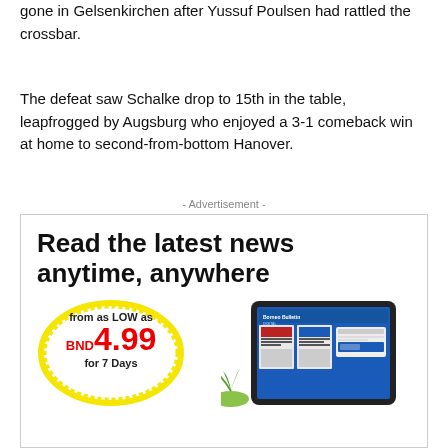gone in Gelsenkirchen after Yussuf Poulsen had rattled the crossbar.
The defeat saw Schalke drop to 15th in the table, leapfrogged by Augsburg who enjoyed a 3-1 comeback win at home to second-from-bottom Hanover.
- Advertisement -
[Figure (illustration): Advertisement banner for Borneo Bulletin Digital subscription. Headline: 'Read the latest news anytime, anywhere'. Price promotion: from as LOW as BND 4.99 for 7 Days. Tablet device shown with Borneo Bulletin Digital app.]